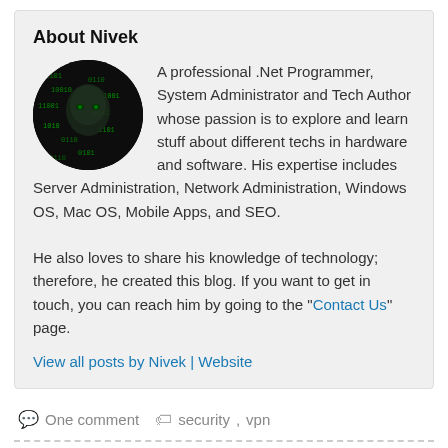About Nivek
[Figure (photo): Circular profile photo of Nivek showing a face overlaid with green Matrix-style code on a dark background]
A professional .Net Programmer, System Administrator and Tech Author whose passion is to explore and learn stuff about different techs in hardware and software. His expertise includes Server Administration, Network Administration, Windows OS, Mac OS, Mobile Apps, and SEO.
He also loves to share his knowledge of technology; therefore, he created this blog. If you want to get in touch, you can reach him by going to the "Contact Us" page.
View all posts by Nivek | Website
One comment   security, vpn
« Uninstall Programs Easily With IObit Uninstaller For PC